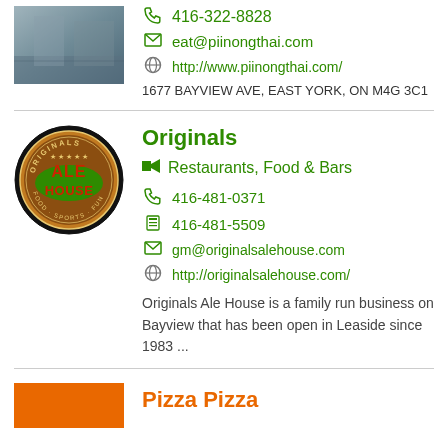[Figure (photo): Partial photo of a restaurant exterior or patio area]
416-322-8828
eat@piinongthai.com
http://www.piinongthai.com/
1677 BAYVIEW AVE, EAST YORK, ON M4G 3C1
[Figure (logo): Originals Ale House circular logo with red and green text on brown/dark background]
Originals
Restaurants, Food & Bars
416-481-0371
416-481-5509
gm@originalsalehouse.com
http://originalsalehouse.com/
Originals Ale House is a family run business on Bayview that has been open in Leaside since 1983 ...
[Figure (photo): Orange background partial image for Pizza Pizza listing]
Pizza Pizza